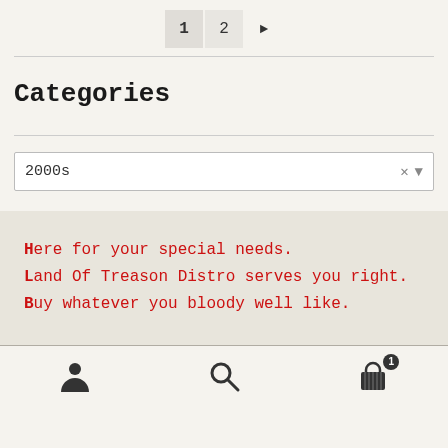1  2  ▶
Categories
2000s
Here for your special needs.
Land Of Treason Distro serves you right.
Buy whatever you bloody well like.
[person icon] [search icon] [cart icon with badge 1]